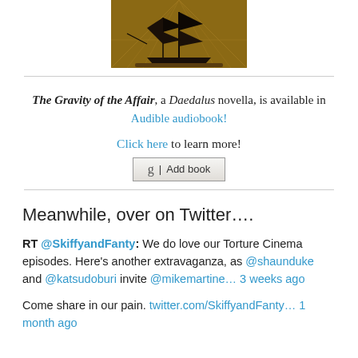[Figure (illustration): Silhouette of a sailing ship against a brown/golden background with geometric line patterns]
The Gravity of the Affair, a Daedalus novella, is available in Audible audiobook!
Click here to learn more!
[Figure (other): Goodreads 'Add book' button with 'g |' icon]
Meanwhile, over on Twitter….
RT @SkiffyandFanty: We do love our Torture Cinema episodes. Here's another extravaganza, as @shaunduke and @katsudoburi invite @mikemartine… 3 weeks ago
Come share in our pain. twitter.com/SkiffyandFanty… 1 month ago